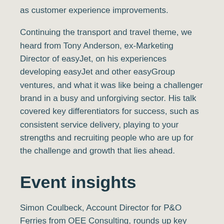as customer experience improvements.
Continuing the transport and travel theme, we heard from Tony Anderson, ex-Marketing Director of easyJet, on his experiences developing easyJet and other easyGroup ventures, and what it was like being a challenger brand in a busy and unforgiving sector. His talk covered key differentiators for success, such as consistent service delivery, playing to your strengths and recruiting people who are up for the challenge and growth that lies ahead.
Event insights
Simon Coulbeck, Account Director for P&O Ferries from OEE Consulting, rounds up key